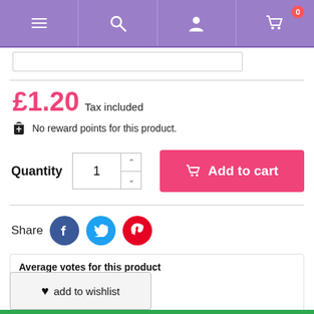Navigation bar with menu, search, account, cart icons
£1.20 Tax included
No reward points for this product.
Quantity 1 Add to cart
Share
Average votes for this product
★★★★★
Average: 5.0 / 5
Based on 2 customers advices.
add to wishlist